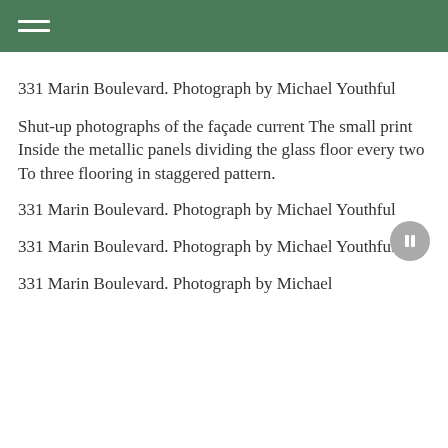331 Marin Boulevard. Photograph by Michael Youthful
Shut-up photographs of the façade current The small print Inside the metallic panels dividing the glass floor every two To three flooring in staggered pattern.
331 Marin Boulevard. Photograph by Michael Youthful
331 Marin Boulevard. Photograph by Michael Youthful
331 Marin Boulevard. Photograph by Michael